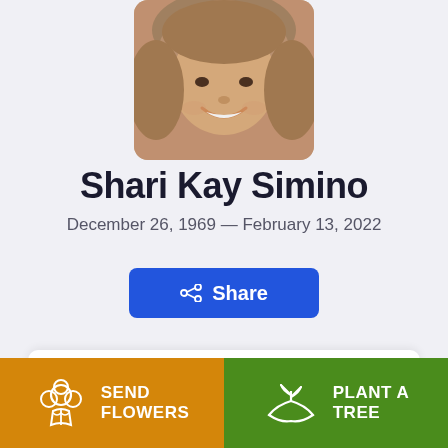[Figure (photo): Portrait photo of Shari Kay Simino, smiling woman with gray-brown hair, cropped at top of page with rounded corners]
Shari Kay Simino
December 26, 1969 — February 13, 2022
Share
SEND FLOWERS
PLANT A TREE